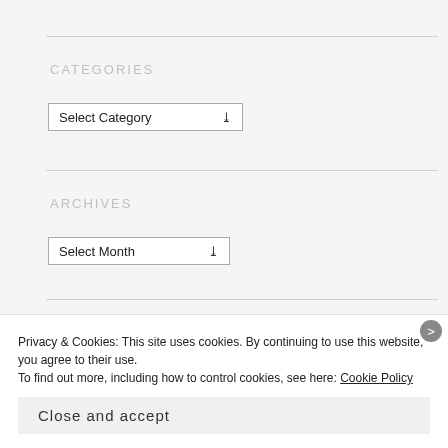CATEGORIES
Select Category
ARCHIVES
Select Month
Follow me on bloglovin'
Privacy & Cookies: This site uses cookies. By continuing to use this website, you agree to their use.
To find out more, including how to control cookies, see here: Cookie Policy
Close and accept